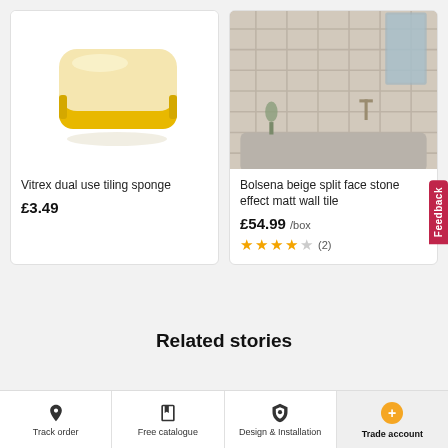[Figure (photo): Yellow sponge product photo on white background]
Vitrex dual use tiling sponge
£3.49
[Figure (photo): Bathroom with beige split face stone effect matt wall tiles, showing a sink area with tiled walls]
Bolsena beige split face stone effect matt wall tile
£54.99 /box
★★★★☆ (2)
Related stories
Track order | Free catalogue | Design & Installation | Trade account